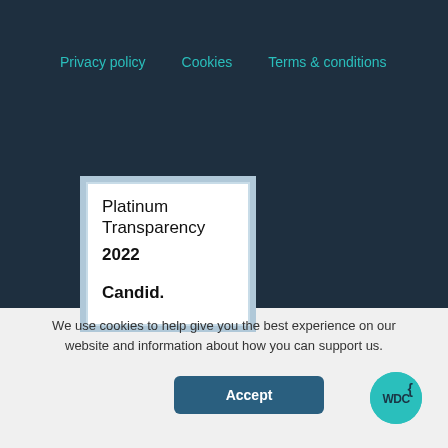Privacy policy   Cookies   Terms & conditions
[Figure (logo): Platinum Transparency 2022 Candid. badge with white background and light blue border]
We use cookies to help give you the best experience on our website and information about how you can support us.
Accept
[Figure (logo): WDC circular teal logo]